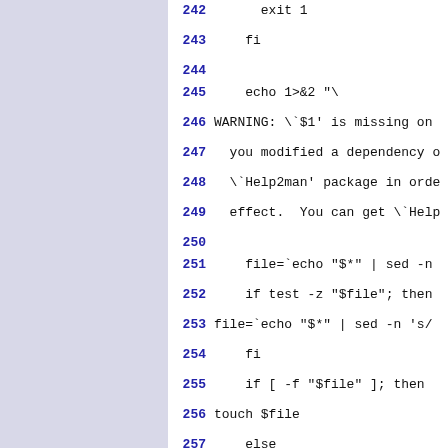242    exit 1
243    fi
244
245    echo 1>&2 "\
246 WARNING: \`$1' is missing on
247    you modified a dependency o
248    \`Help2man' package in orde
249    effect.  You can get \`Help
250
251    file=`echo "$*" | sed -n
252    if test -z "$file"; then
253 file=`echo "$*" | sed -n 's/
254    fi
255    if [ -f "$file" ]; then
256 touch $file
257    else